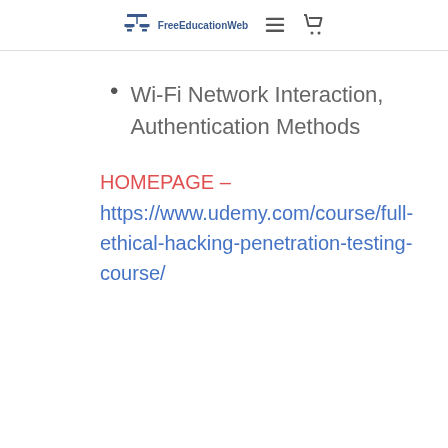FreeEducationWeb
Wi-Fi Network Interaction, Authentication Methods
HOMEPAGE – https://www.udemy.com/course/full-ethical-hacking-penetration-testing-course/